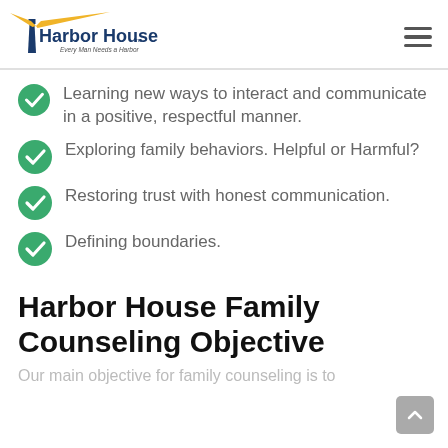Harbor House — Every Man Needs a Harbor
Learning new ways to interact and communicate in a positive, respectful manner.
Exploring family behaviors. Helpful or Harmful?
Restoring trust with honest communication.
Defining boundaries.
Harbor House Family Counseling Objective
Our main objective for family counseling is to